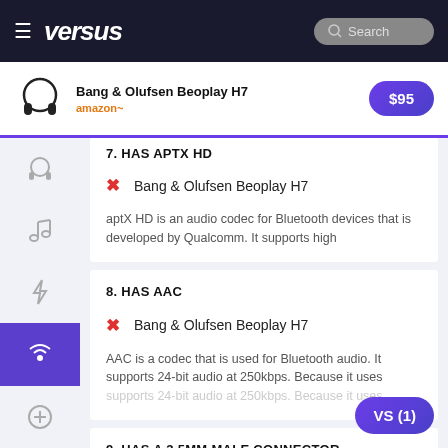versus — Search
[Figure (screenshot): Ad banner: Bang & Olufsen Beoplay H7 headphone image with Amazon logo and $95 price button]
7. HAS APTX HD
✗ Bang & Olufsen Beoplay H7
aptX HD is an audio codec for Bluetooth devices that is developed by Qualcomm. It supports high
8. HAS AAC
✗ Bang & Olufsen Beoplay H7
AAC is a codec that is used for Bluetooth audio. It supports 24-bit audio at 250kbps. Because it uses
9. HAS A 3.5MM MALE CONNECTOR